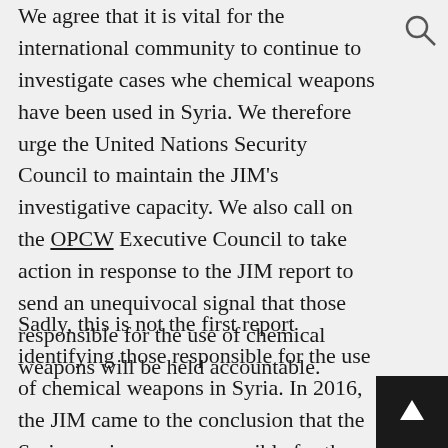We agree that it is vital for the international community to continue to investigate cases whe chemical weapons have been used in Syria. We therefore urge the United Nations Security Council to maintain the JIM's investigative capacity. We also call on the OPCW Executive Council to take action in response to the JIM report to send an unequivocal signal that those responsible for the use of chemical weapons will be held accountable.
Sadly, this is not the first report identifying those responsible for the use of chemical weapons in Syria. In 2016, the JIM came to the conclusion that the Syrian regime was responsible for the use of chlorine as a chemical weapon in at least three attacks in 2014 and 2015, and ISIS/Daesh used sulphur mustard once in 2015.